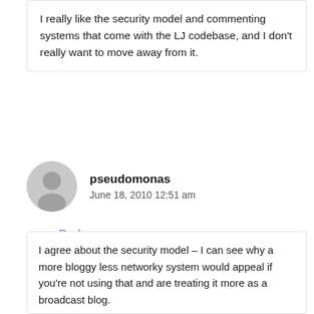I really like the security model and commenting systems that come with the LJ codebase, and I don't really want to move away from it.
Reply
pseudomonas
June 18, 2010 12:51 am
I agree about the security model – I can see why a more bloggy less networky system would appeal if you're not using that and are treating it more as a broadcast blog.
Re migrating, can I pre-emptively beg that you keep all your comments in one place, not half here